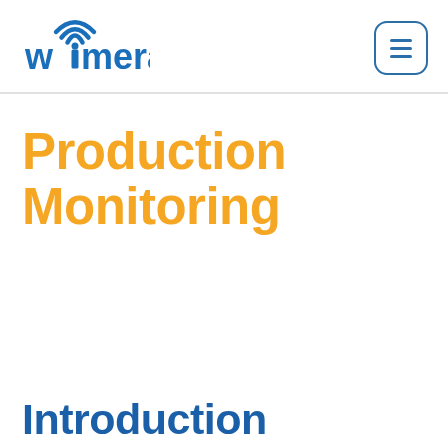[Figure (logo): Wimera logo with wifi signal icon above letter 'i', text in blue]
Production Monitoring
Introduction